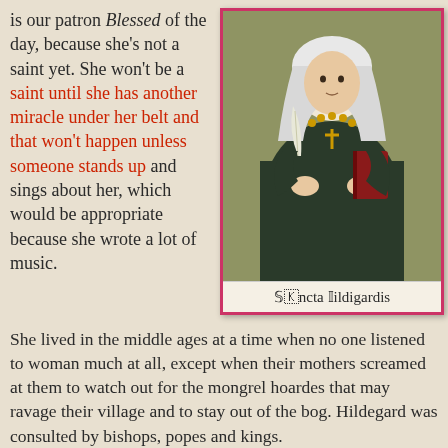is our patron Blessed of the day, because she's not a saint yet. She won't be a saint until she has another miracle under her belt and that won't happen unless someone stands up and sings about her, which would be appropriate because she wrote a lot of music.
[Figure (illustration): Illustrated holy card of Sancta Hildigardis (Saint Hildegard of Bingen), showing a nun in dark robes holding a quill and a book, with a gold cross necklace, white veil, against a gold/olive background. Text at bottom reads 'Sancta Hildigardis' in decorative script.]
She lived in the middle ages at a time when no one listened to woman much at all, except when their mothers screamed at them to watch out for the mongrel hoardes that may ravage their village and to stay out of the bog. Hildegard was consulted by bishops, popes and kings.
Very remarkable considering she was home schooled, so to